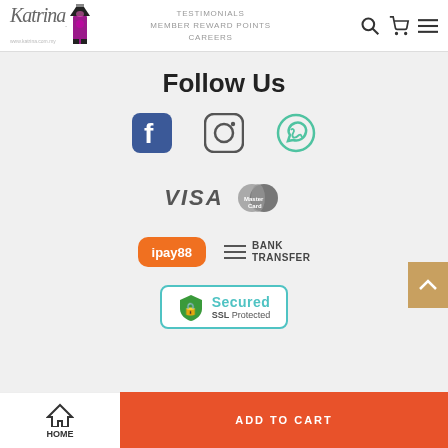[Figure (screenshot): Katrina fashion brand website header with logo, navigation links (TESTIMONIALS, MEMBER REWARD POINTS, CAREERS), search icon, cart icon, and menu icon]
Follow Us
[Figure (infographic): Social media icons: Facebook, Instagram, WhatsApp]
[Figure (infographic): Payment logos: VISA and MasterCard]
[Figure (infographic): Payment options: ipay88 and Bank Transfer]
[Figure (infographic): Secured SSL Protected badge]
ADD TO CART
HOME